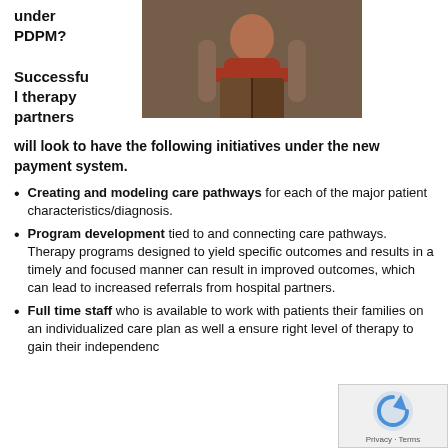under PDPM?
[Figure (photo): Elderly person in a red sweater sitting in a chair reading a book]
Successful therapy partners will look to have the following initiatives under the new payment system.
Creating and modeling care pathways for each of the major patient characteristics/diagnosis.
Program development tied to and connecting care pathways. Therapy programs designed to yield specific outcomes and results in a timely and focused manner can result in improved outcomes, which can lead to increased referrals from hospital partners.
Full time staff who is available to work with patients their families on an individualized care plan as well as ensure right level of therapy to gain their independence or